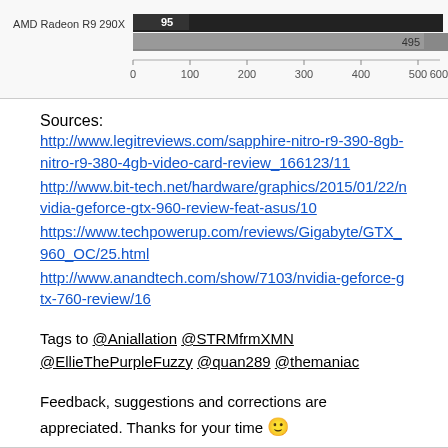[Figure (bar-chart): Partial bar chart showing AMD Radeon R9 290X with two bars: value 95 (dark/black bar) and value 495 (gray bar). X-axis goes from 0 to 600 in increments of 100.]
Sources:
http://www.legitreviews.com/sapphire-nitro-r9-390-8gb-nitro-r9-380-4gb-video-card-review_166123/11
http://www.bit-tech.net/hardware/graphics/2015/01/22/nvidia-geforce-gtx-960-review-feat-asus/10
https://www.techpowerup.com/reviews/Gigabyte/GTX_960_OC/25.html
http://www.anandtech.com/show/7103/nvidia-geforce-gtx-760-review/16
Tags to @Aniallation @STRMfrmXMN @EllieThePurpleFuzzy @quan289 @themaniac
Feedback, suggestions and corrections are appreciated. Thanks for your time 🙂